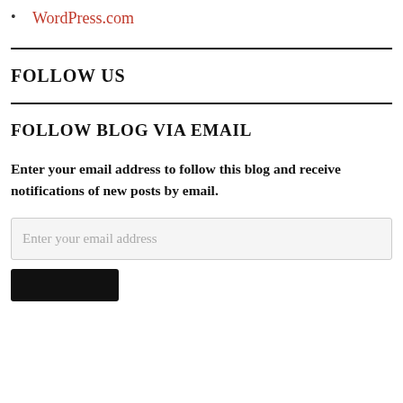WordPress.com
FOLLOW US
FOLLOW BLOG VIA EMAIL
Enter your email address to follow this blog and receive notifications of new posts by email.
Enter your email address